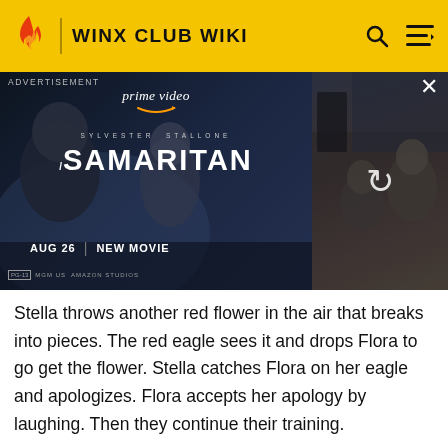WINX CLUB WIKI
[Figure (screenshot): Amazon Prime Video advertisement for the movie Samaritan starring Sylvester Stallone. Left side shows movie poster with dark background, 'prime video' logo, 'SYLVESTER STALLONE' text, large 'SAMARITAN' title with orange styling, 'AUG 26 | NEW MOVIE' text. Right side shows a movie still with a loading/refresh icon overlay.]
Stella throws another red flower in the air that breaks into pieces. The red eagle sees it and drops Flora to go get the flower. Stella catches Flora on her eagle and apologizes. Flora accepts her apology by laughing. Then they continue their training.
[Figure (screenshot): Bottom portion of an animated scene showing a dark-themed character with spiky hair, red and black costume, appearing to be from the Winx Club animated series, set against a blue underwater or magical background with rocky formations.]